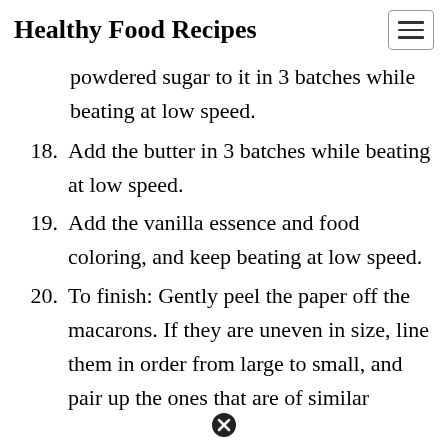Healthy Food Recipes
powdered sugar to it in 3 batches while beating at low speed.
18. Add the butter in 3 batches while beating at low speed.
19. Add the vanilla essence and food coloring, and keep beating at low speed.
20. To finish: Gently peel the paper off the macarons. If they are uneven in size, line them in order from large to small, and pair up the ones that are of similar
✕